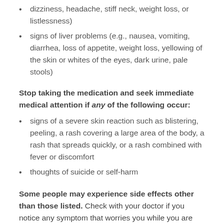dizziness, headache, stiff neck, weight loss, or listlessness)
signs of liver problems (e.g., nausea, vomiting, diarrhea, loss of appetite, weight loss, yellowing of the skin or whites of the eyes, dark urine, pale stools)
Stop taking the medication and seek immediate medical attention if any of the following occur:
signs of a severe skin reaction such as blistering, peeling, a rash covering a large area of the body, a rash that spreads quickly, or a rash combined with fever or discomfort
thoughts of suicide or self-harm
Some people may experience side effects other than those listed. Check with your doctor if you notice any symptom that worries you while you are taking this medication.
Are there any other precautions or warnings for this